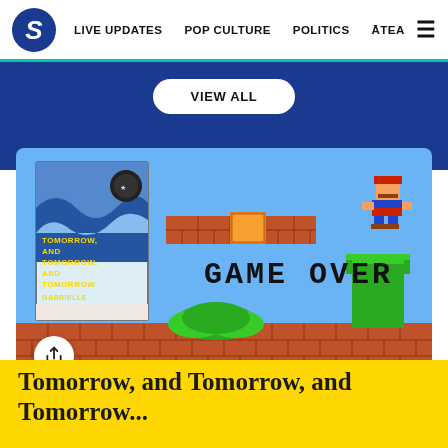S | LIVE UPDATES   POP CULTURE   POLITICS   ĀTEA   ☰
VIEW ALL
[Figure (illustration): Mario Bros style video game scene with 'GAME OVER' text, brick platforms, green pipes, bushes, and a Mario character jumping. A book cover for 'Tomorrow, and Tomorrow, and Tomorrow' by Gabrielle Zevin is overlaid on the left side.]
Tomorrow, and Tomorrow, and Tomorrow, and...